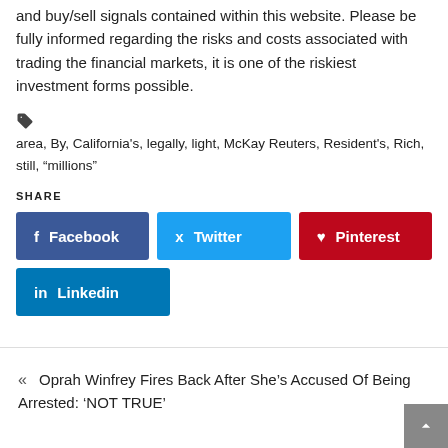and buy/sell signals contained within this website. Please be fully informed regarding the risks and costs associated with trading the financial markets, it is one of the riskiest investment forms possible.
area, By, California's, legally, light, McKay Reuters, Resident's, Rich, still, “millions”
SHARE
Facebook
Twitter
Pinterest
Linkedin
« Oprah Winfrey Fires Back After She’s Accused Of Being Arrested: ‘NOT TRUE’